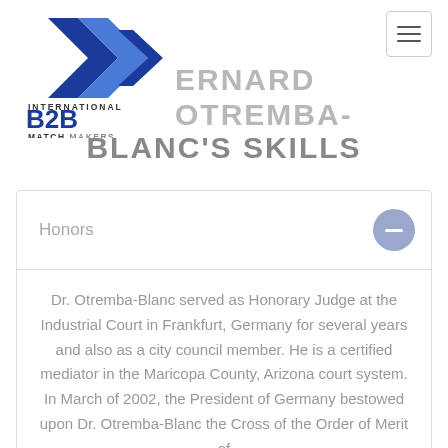[Figure (logo): International B2B Matchmakers logo with blue arrow/chevron graphic above text]
Navigation hamburger menu button
BERNARD OTREMBA-BLANC'S SKILLS
Honors
Dr. Otremba-Blanc served as Honorary Judge at the Industrial Court in Frankfurt, Germany for several years and also as a city council member. He is a certified mediator in the Maricopa County, Arizona court system. In March of 2002, the President of Germany bestowed upon Dr. Otremba-Blanc the Cross of the Order of Merit of